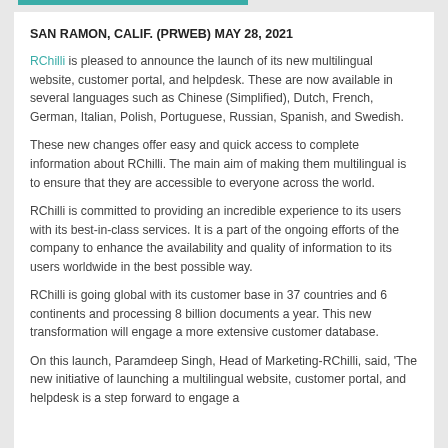SAN RAMON, CALIF. (PRWEB) MAY 28, 2021
RChilli is pleased to announce the launch of its new multilingual website, customer portal, and helpdesk. These are now available in several languages such as Chinese (Simplified), Dutch, French, German, Italian, Polish, Portuguese, Russian, Spanish, and Swedish.
These new changes offer easy and quick access to complete information about RChilli. The main aim of making them multilingual is to ensure that they are accessible to everyone across the world.
RChilli is committed to providing an incredible experience to its users with its best-in-class services. It is a part of the ongoing efforts of the company to enhance the availability and quality of information to its users worldwide in the best possible way.
RChilli is going global with its customer base in 37 countries and 6 continents and processing 8 billion documents a year. This new transformation will engage a more extensive customer database.
On this launch, Paramdeep Singh, Head of Marketing-RChilli, said, 'The new initiative of launching a multilingual website, customer portal, and helpdesk is a step forward to engage a...